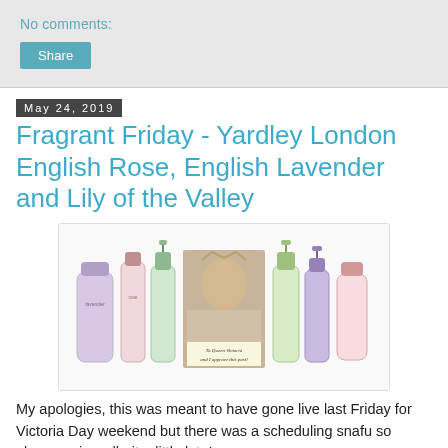No comments:
Share
May 24, 2019
Fragrant Friday - Yardley London English Rose, English Lavender and Lily of the Valley
[Figure (photo): Yardley London product bottles (lavender, rose, lily of the valley scents) flanking a sepia portrait of Queen Victoria with a caption reading 'To Queen Victoria and I approve this post!']
My apologies, this was meant to have gone live last Friday for Victoria Day weekend but there was a scheduling snafu so please enjoy, albeit a little late!